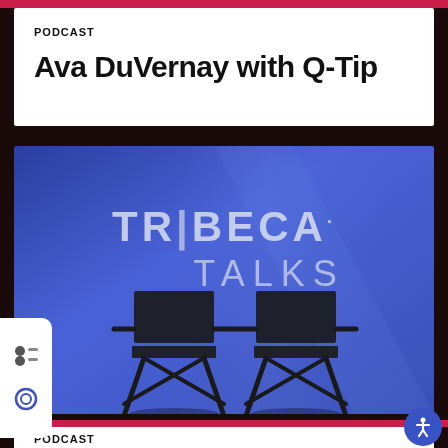PODCAST
Ava DuVernay with Q-Tip
[Figure (photo): Tribeca Talks promotional image showing two director chairs on a blue-purple gradient background with 'TR|BECA. TALKS' text logo]
PODCAST